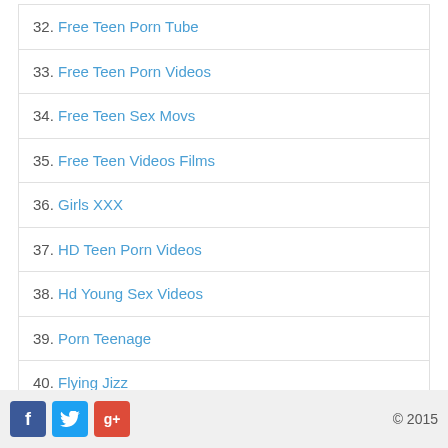32. Free Teen Porn Tube
33. Free Teen Porn Videos
34. Free Teen Sex Movs
35. Free Teen Videos Films
36. Girls XXX
37. HD Teen Porn Videos
38. Hd Young Sex Videos
39. Porn Teenage
40. Flying Jizz
© 2015